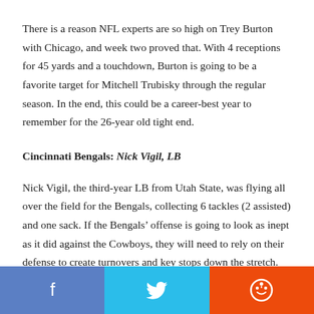There is a reason NFL experts are so high on Trey Burton with Chicago, and week two proved that. With 4 receptions for 45 yards and a touchdown, Burton is going to be a favorite target for Mitchell Trubisky through the regular season. In the end, this could be a career-best year to remember for the 26-year old tight end.
Cincinnati Bengals: Nick Vigil, LB
Nick Vigil, the third-year LB from Utah State, was flying all over the field for the Bengals, collecting 6 tackles (2 assisted) and one sack. If the Bengals’ offense is going to look as inept as it did against the Cowboys, they will need to rely on their defense to create turnovers and key stops down the stretch.
[Figure (other): Social media share buttons: Facebook (blue), Twitter (light blue), Reddit (orange-red)]